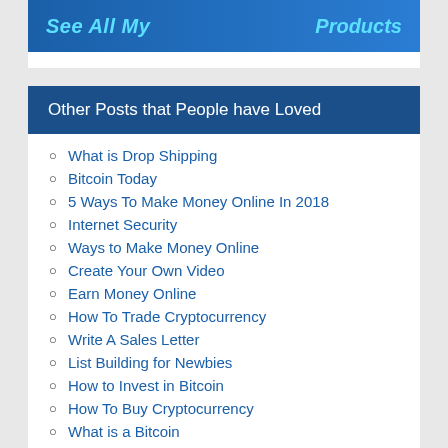[Figure (illustration): Banner image with text 'See All My Products' in blue italic font on a blue gradient background with a person figure]
Other Posts that People have Loved
What is Drop Shipping
Bitcoin Today
5 Ways To Make Money Online In 2018
Internet Security
Ways to Make Money Online
Create Your Own Video
Earn Money Online
How To Trade Cryptocurrency
Write A Sales Letter
List Building for Newbies
How to Invest in Bitcoin
How To Buy Cryptocurrency
What is a Bitcoin